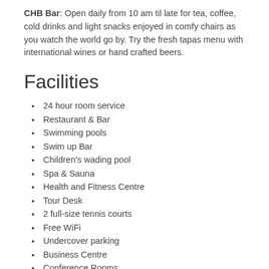CHB Bar: Open daily from 10 am til late for tea, coffee, cold drinks and light snacks enjoyed in comfy chairs as you watch the world go by. Try the fresh tapas menu with international wines or hand crafted beers.
Facilities
24 hour room service
Restaurant & Bar
Swimming pools
Swim up Bar
Children's wading pool
Spa & Sauna
Health and Fitness Centre
Tour Desk
2 full-size tennis courts
Free WiFi
Undercover parking
Business Centre
Conference Rooms
Complimentary scheduled shuttle service to the Cairns CBD